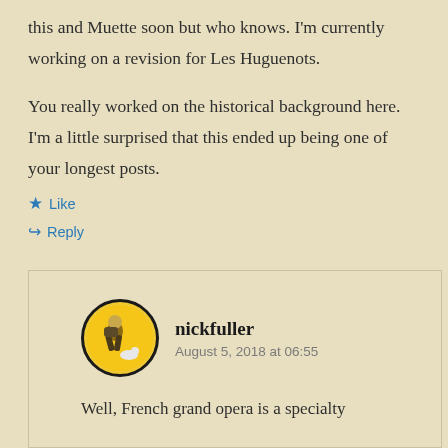this and Muette soon but who knows. I'm currently working on a revision for Les Huguenots.
You really worked on the historical background here. I'm a little surprised that this ended up being one of your longest posts.
Like
Reply
nickfuller
August 5, 2018 at 06:55
Well, French grand opera is a specialty